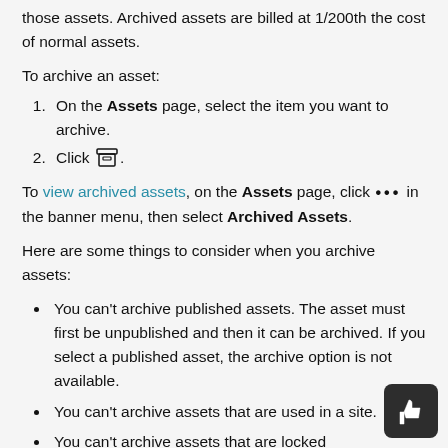those assets. Archived assets are billed at 1/200th the cost of normal assets.
To archive an asset:
On the Assets page, select the item you want to archive.
Click [archive icon].
To view archived assets, on the Assets page, click ••• in the banner menu, then select Archived Assets.
Here are some things to consider when you archive assets:
You can't archive published assets. The asset must first be unpublished and then it can be archived. If you select a published asset, the archive option is not available.
You can't archive assets that are used in a site.
You can't archive assets that are locked